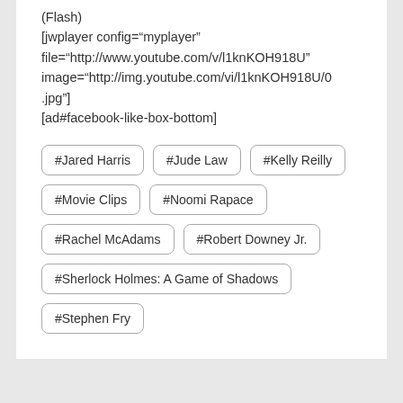(Flash)
[jwplayer config="myplayer" file="http://www.youtube.com/v/l1knKOH918U" image="http://img.youtube.com/vi/l1knKOH918U/0.jpg"]
[ad#facebook-like-box-bottom]
#Jared Harris
#Jude Law
#Kelly Reilly
#Movie Clips
#Noomi Rapace
#Rachel McAdams
#Robert Downey Jr.
#Sherlock Holmes: A Game of Shadows
#Stephen Fry